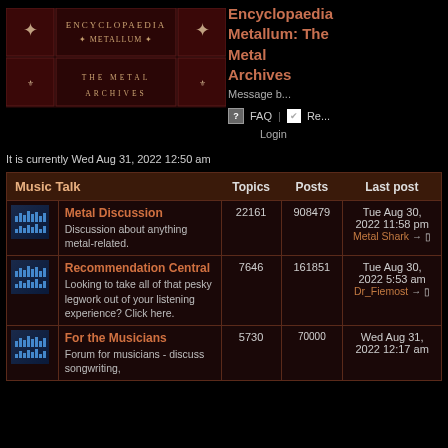[Figure (logo): Encyclopaedia Metallum - The Metal Archives logo banner with dark red ornamental design]
Encyclopaedia Metallum: The Metal Archives - Message board
FAQ  Register  Login
It is currently Wed Aug 31, 2022 12:50 am
| Music Talk |  | Topics | Posts | Last post |
| --- | --- | --- | --- | --- |
| Metal Discussion | Discussion about anything metal-related. | 22161 | 908479 | Tue Aug 30, 2022 11:58 pm
Metal Shark |
| Recommendation Central | Looking to take all of that pesky legwork out of your listening experience? Click here. | 7646 | 161851 | Tue Aug 30, 2022 5:53 am
Dr_Fiemost |
| For the Musicians | Forum for musicians - discuss songwriting, | 5730 | 70000 | Wed Aug 31, 2022 12:17 am |